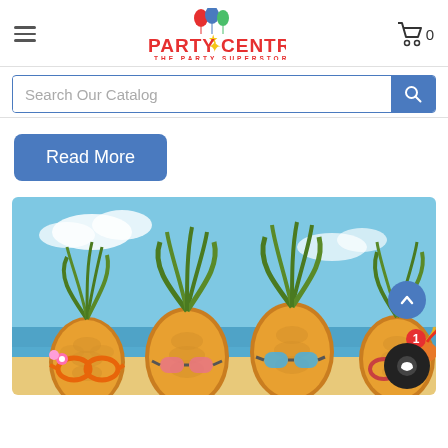[Figure (logo): Party Centre logo with balloons icon, red bold text 'PARTY CENTRE' and subtitle 'THE PARTY SUPERSTORE']
Search Our Catalog
Read More
[Figure (photo): Four pineapples wearing novelty sunglasses on a beach with blue sky and ocean in the background, themed as a luau/tropical party]